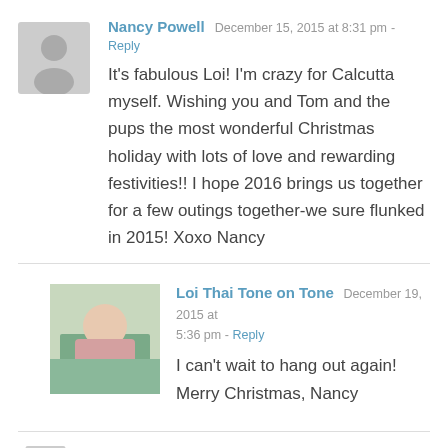[Figure (illustration): Default avatar placeholder - grey silhouette of a person on light grey background]
Nancy Powell  December 15, 2015 at 8:31 pm  - Reply
It's fabulous Loi! I'm crazy for Calcutta myself. Wishing you and Tom and the pups the most wonderful Christmas holiday with lots of love and rewarding festivities!! I hope 2016 brings us together for a few outings together-we sure flunked in 2015! Xoxo Nancy
[Figure (photo): Photo of Loi Thai Tone on Tone - a person in a pink shirt]
Loi Thai Tone on Tone  December 19, 2015 at 5:36 pm  - Reply
I can't wait to hang out again! Merry Christmas, Nancy